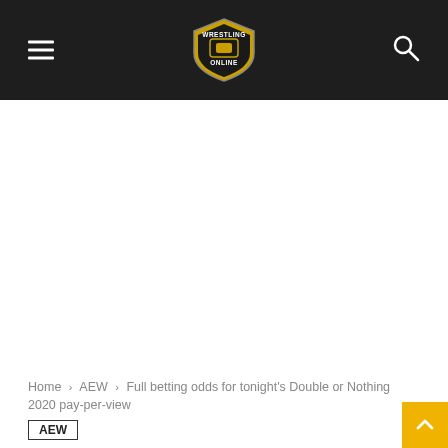Wrestling Online [logo] [hamburger menu] [search icon]
[Figure (other): Large white advertisement space below the header navigation bar]
Home › AEW › Full betting odds for tonight's Double or Nothing 2020 pay-per-view
AEW
Full betting odds for